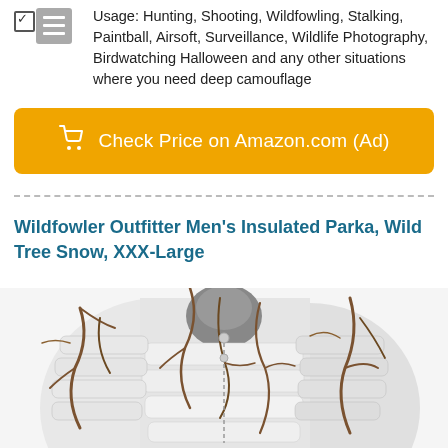Usage: Hunting, Shooting, Wildfowling, Stalking, Paintball, Airsoft, Surveillance, Wildlife Photography, Birdwatching Halloween and any other situations where you need deep camouflage
[Figure (other): Orange Amazon checkout button with shopping cart icon and text 'Check Price on Amazon.com (Ad)']
Wildfowler Outfitter Men's Insulated Parka, Wild Tree Snow, XXX-Large
[Figure (photo): Photo of a men's insulated parka with white and brown tree branch camouflage pattern (Wild Tree Snow), shown on a mannequin torso, cropped at bottom of page]